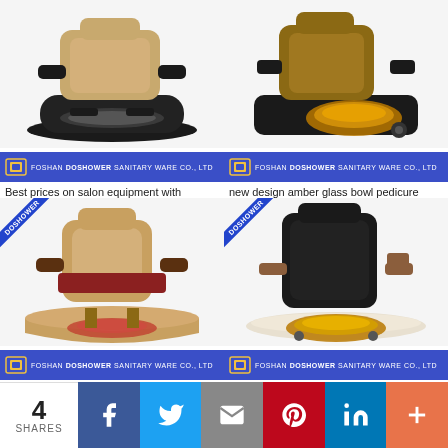[Figure (photo): Pedicure spa chair with tan/gold cushion and black base with whirlpool foot basin, brand banner: FOSHAN DOSHOWER SANITARY WARE CO., LTD]
[Figure (photo): Pedicure spa chair with amber glass bowl, brown leather seat and black frame, brand banner: FOSHAN DOSHOWER SANITARY WARE CO., LTD]
Best prices on salon equipment with whirlpool spa chairs for nail furniture
new design amber glass bowl pedicure chair wholesale china
[Figure (photo): Luxury nail spa brown spa chair with red accents and gold/cream base, DOSHOWER ribbon badge, brand banner: FOSHAN DOSHOWER SANITARY WARE CO., LTD]
[Figure (photo): Pedicure Chair Pedicure Spa Chair, black leather with white/gold base and gold bowl, DOSHOWER ribbon badge, brand banner: FOSHAN DOSHOWER SANITARY WARE CO., LTD]
Luxury nail spa brown spa chair
Pedicure Chair Pedicure Spa Chair